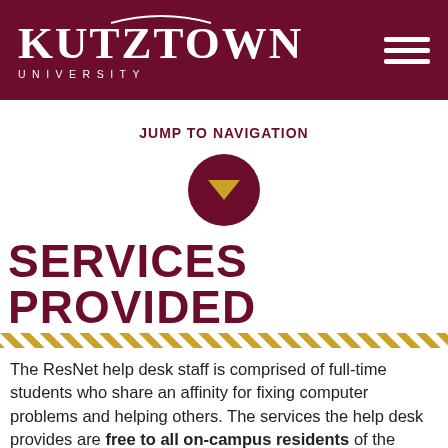KUTZTOWN UNIVERSITY
JUMP TO NAVIGATION
[Figure (illustration): Maroon circle with a gold downward-pointing triangle/arrow icon inside, used as a navigation toggle button]
SERVICES PROVIDED
The ResNet help desk staff is comprised of full-time students who share an affinity for fixing computer problems and helping others. The services the help desk provides are free to all on-campus residents of the